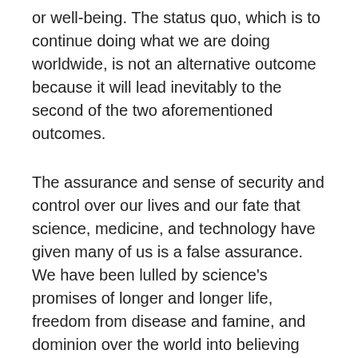or well-being. The status quo, which is to continue doing what we are doing worldwide, is not an alternative outcome because it will lead inevitably to the second of the two aforementioned outcomes.
The assurance and sense of security and control over our lives and our fate that science, medicine, and technology have given many of us is a false assurance. We have been lulled by science's promises of longer and longer life, freedom from disease and famine, and dominion over the world into believing that there is nothing that can harm us, because science will always find a solution to whatever ails or confronts us, or threatens our existence and our well-merited evolutionary success. For it is precisely this foolish